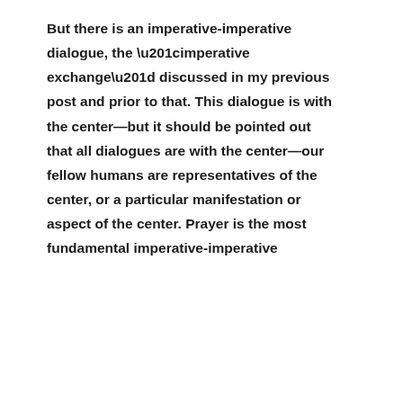But there is an imperative-imperative dialogue, the “imperative exchange” discussed in my previous post and prior to that. This dialogue is with the center—but it should be pointed out that all dialogues are with the center—our fellow humans are representatives of the center, or a particular manifestation or aspect of the center. Prayer is the most fundamental imperative-imperative